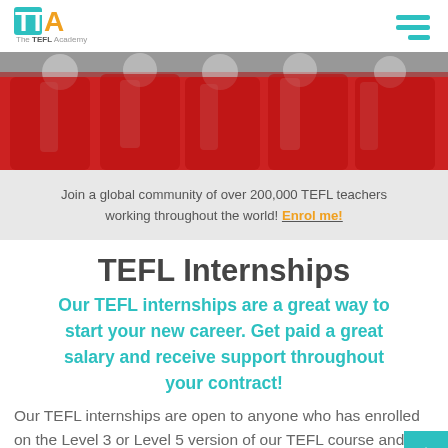[Figure (logo): TTA - The TEFL Academy logo with teal and orange letters]
[Figure (photo): Children or students in red uniforms/jackets grouped together outdoors]
Join a global community of over 200,000 TEFL teachers working throughout the world! Enrol me!
TEFL Internships
Our TEFL internships are a great way to start your new career. Get paid a great salary and receive support throughout your contract!
Our TEFL internships are open to anyone who has enrolled on the Level 3 or Level 5 version of our TEFL course and meets the